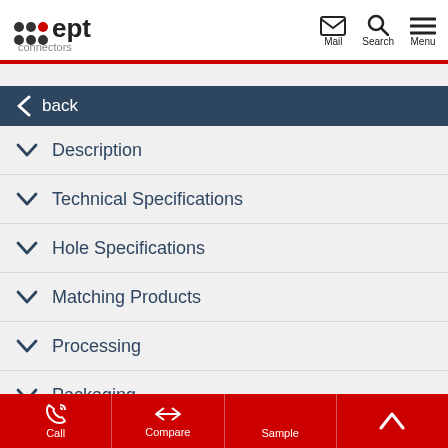[Figure (logo): ept connectors logo with dots and red text]
back
Description
Technical Specifications
Hole Specifications
Matching Products
Processing
Packaging
Call  Compare  Sample